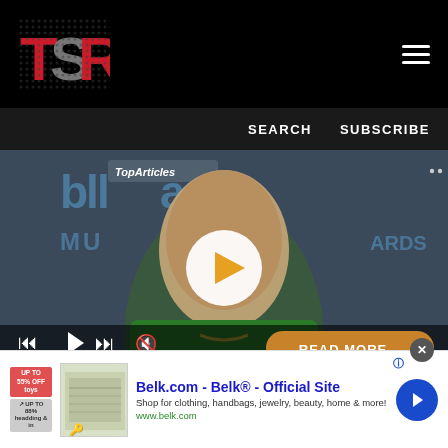TSR
SEARCH   SUBSCRIBE
[Figure (screenshot): Video player showing Fat Joe at Billboard Music Awards with play button and media controls overlay. Caption reads: Fat Joe Announces Comedy Debut With One-Man Standup Show]
[Figure (other): Advertisement: Belk.com - Belk® - Official Site. Shop for clothing, handbags, jewelry, beauty, home & more! www.belk.com]